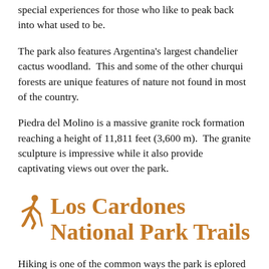special experiences for those who like to peak back into what used to be.
The park also features Argentina's largest chandelier cactus woodland. This and some of the other churqui forests are unique features of nature not found in most of the country.
Piedra del Molino is a massive granite rock formation reaching a height of 11,811 feet (3,600 m). The granite sculpture is impressive while it also provide captivating views out over the park.
Los Cardones National Park Trails
Hiking is one of the common ways the park is eplored and it allows for a more intimate experience with nature. There are only a limited number of trails which leads many visitors